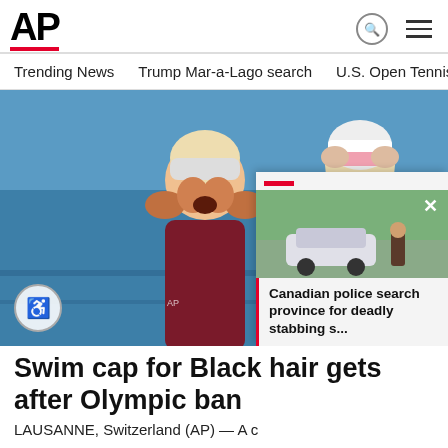AP
Trending News   Trump Mar-a-Lago search   U.S. Open Tennis
[Figure (photo): Two female swimmers at the Olympic pool; one on the left in a dark red swimsuit with her hands on her face in shock, and one on the right in a white cap adjusting her goggles. Popup card overlaying bottom-right showing a car and person outside with headline 'Canadian police search province for deadly stabbing s...']
Swim cap for Black hair gets  after Olympic ban
LAUSANNE, Switzerland (AP) — A c